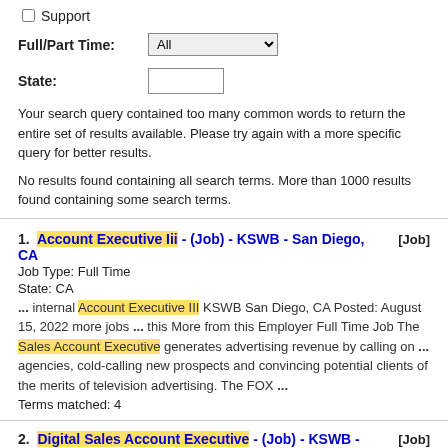Support
Full/Part Time: All
State:
Your search query contained too many common words to return the entire set of results available. Please try again with a more specific query for better results.
No results found containing all search terms. More than 1000 results found containing some search terms.
1. Account Executive Iii - (Job) - KSWB - San Diego, CA [Job]
Job Type: Full Time
State: CA
... internal Account Executive III KSWB San Diego, CA Posted: August 15, 2022 more jobs ... this More from this Employer Full Time Job The Sales Account Executive generates advertising revenue by calling on ... agencies, cold-calling new prospects and convincing potential clients of the merits of television advertising. The FOX ...
Terms matched: 4
2. Digital Sales Account Executive - (Job) - KSWB - San Diego, CA [Job]
Job Type: Full Time
State: CA